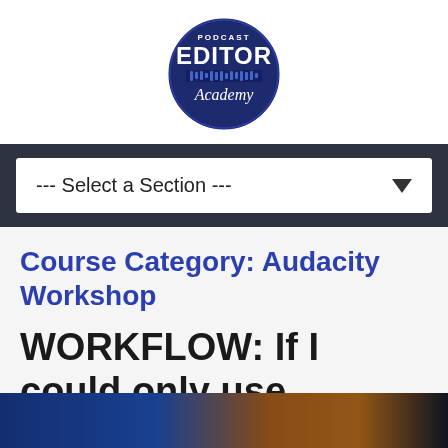[Figure (logo): Podcast Editor Academy circular logo with dark navy blue background, text 'PODCAST' at top, 'EDITOR' in large bold letters, audio waveform bar graphic, and 'Academy' in italic script below]
--- Select a Section ---
Course Category: Audacity Workshop
WORKFLOW: If I could only use Audacity
[Figure (photo): Partial view of a colorful banner image with blue, orange, and dark tones at the bottom of the page]